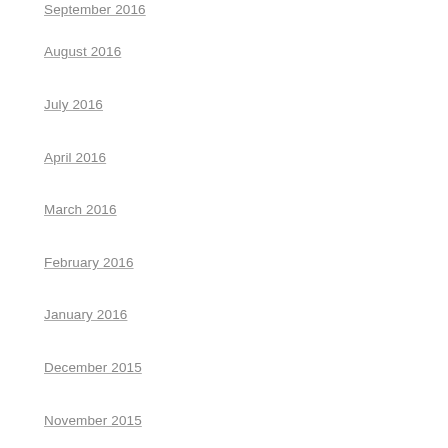September 2016
August 2016
July 2016
April 2016
March 2016
February 2016
January 2016
December 2015
November 2015
October 2015
September 2015
CATEGORIES